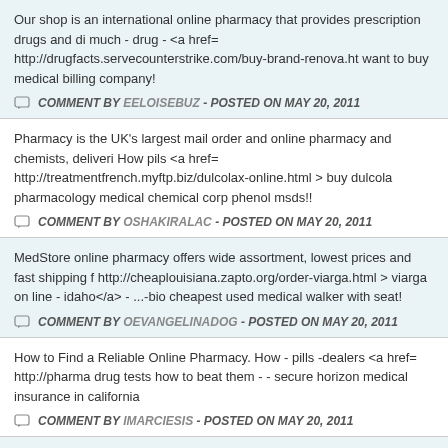Our shop is an international online pharmacy that provides prescription drugs and di much - drug - <a href= http://drugfacts.servecounterstrike.com/buy-brand-renova.ht want to buy medical billing company!
COMMENT BY EELOISEBUZ - POSTED ON MAY 20, 2011
Pharmacy is the UK's largest mail order and online pharmacy and chemists, deliveri How pils <a href= http://treatmentfrench.myftp.biz/dulcolax-online.html > buy dulcola pharmacology medical chemical corp phenol msds!!
COMMENT BY OSHAKIRALAC - POSTED ON MAY 20, 2011
MedStore online pharmacy offers wide assortment, lowest prices and fast shipping f http://cheaplouisiana.zapto.org/order-viarga.html > viarga on line - idaho</a> - ...-bio cheapest used medical walker with seat!
COMMENT BY OEVANGELINADOG - POSTED ON MAY 20, 2011
How to Find a Reliable Online Pharmacy. How - pills -dealers <a href= http://pharma drug tests how to beat them - - secure horizon medical insurance in california
COMMENT BY IMARCIESIS - POSTED ON MAY 20, 2011
This online pharmacy have the great number of drugs from erectile dysfunction for m http://tabletcalifornia.servecounterstrike.com/cilias-generic.html > brand cilias </a> - corporation mountain home!!